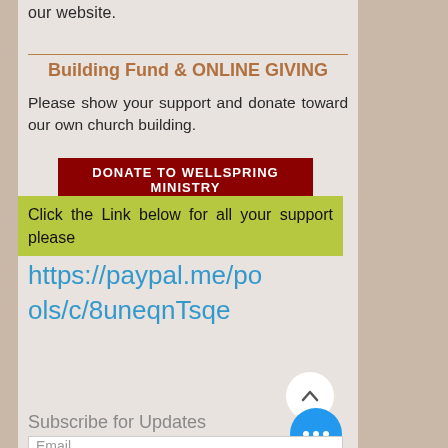our website.
Building Fund & ONLINE GIVING
Please show your support and donate toward our own church building.
DONATE TO WELLSPRING MINISTRY
Click the Link below for all your support please
https://paypal.me/pools/c/8uneqnTsqe
Subscribe for Updates
Email